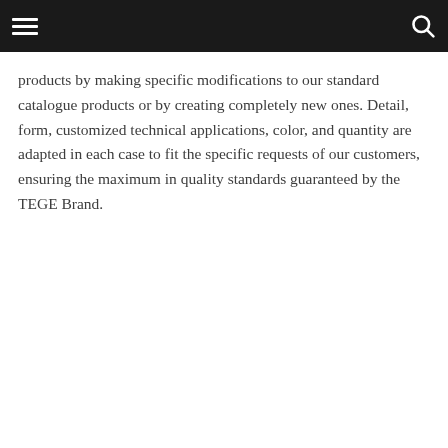[navigation bar with hamburger menu and search icon]
products by making specific modifications to our standard catalogue products or by creating completely new ones. Detail, form, customized technical applications, color, and quantity are adapted in each case to fit the specific requests of our customers, ensuring the maximum in quality standards guaranteed by the TEGE Brand.